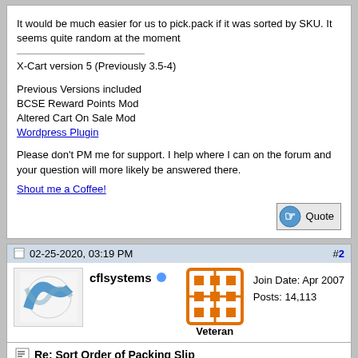It would be much easier for us to pick.pack if it was sorted by SKU. It seems quite random at the moment
X-Cart version 5 (Previously 3.5-4)
Previous Versions included
BCSE Reward Points Mod
Altered Cart On Sale Mod
Wordpress Plugin
Please don't PM me for support. I help where I can on the forum and your question will more likely be answered there.
Shout me a Coffee!
02-25-2020, 03:19 PM
#2
cflsystems
Join Date: Apr 2007
Posts: 14,113
Veteran
Re: Sort Order of Packing Slip
I think the default sorting is by item id which is the order products were added to cart. So it is not random but yes makes no sense most of the time.
It could be also product title, can't remember.